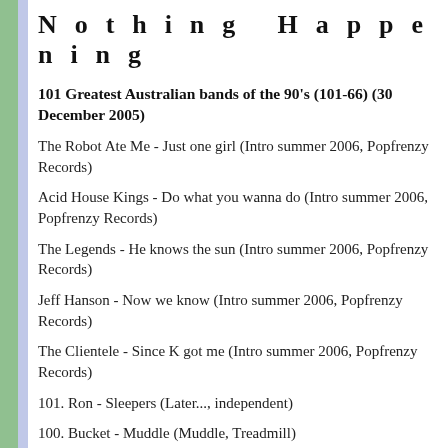N o t h i n g   H a p p e n i n g
101 Greatest Australian bands of the 90's (101-66) (30 December 2005)
The Robot Ate Me - Just one girl (Intro summer 2006, Popfrenzy Records)
Acid House Kings - Do what you wanna do (Intro summer 2006, Popfrenzy Records)
The Legends - He knows the sun (Intro summer 2006, Popfrenzy Records)
Jeff Hanson - Now we know (Intro summer 2006, Popfrenzy Records)
The Clientele - Since K got me (Intro summer 2006, Popfrenzy Records)
101. Ron - Sleepers (Later..., independent)
100. Bucket - Muddle (Muddle, Treadmill)
99. Atticus - Smart casual (Adequate, Oracle Records)